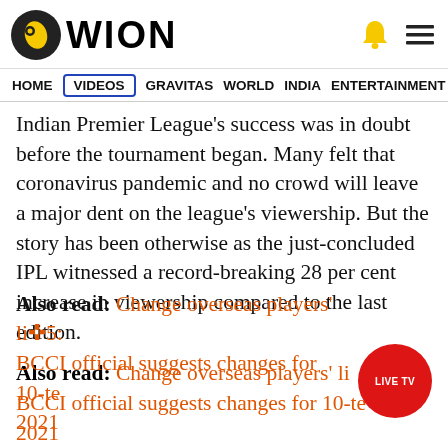WION
HOME  VIDEOS  GRAVITAS  WORLD  INDIA  ENTERTAINMENT  SPORTS
Indian Premier League's success was in doubt before the tournament began. Many felt that coronavirus pandemic and no crowd will leave a major dent on the league's viewership. But the story has been otherwise as the just-concluded IPL witnessed a record-breaking 28 per cent increase in viewership compared to the last edition.
Also read: Change overseas players' limit to 5: BCCI official suggests changes for 10-team IPL 2021